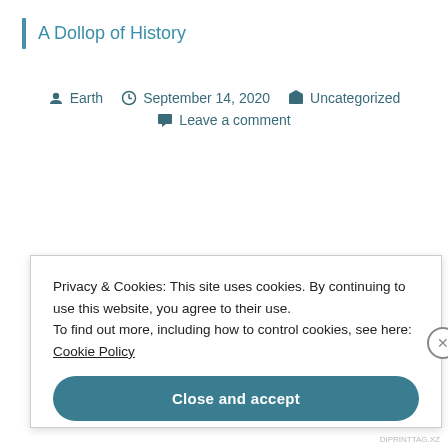A Dollop of History
Earth  September 14, 2020  Uncategorized  Leave a comment
Privacy & Cookies: This site uses cookies. By continuing to use this website, you agree to their use.
To find out more, including how to control cookies, see here: Cookie Policy
Close and accept